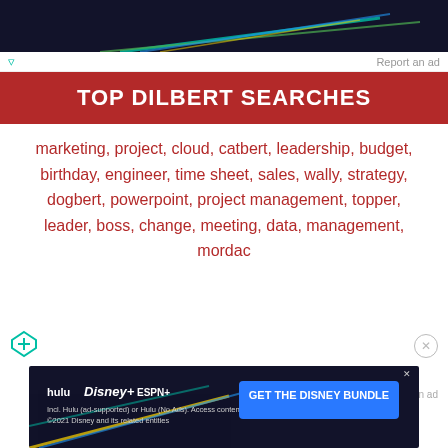[Figure (screenshot): Top banner ad with dark blue/teal gradient background and colored streaks]
Report an ad
TOP DILBERT SEARCHES
marketing, project, cloud, catbert, leadership, budget, birthday, engineer, time sheet, sales, wally, strategy, dogbert, powerpoint, project management, topper, leader, boss, change, meeting, data, management, mordac
Dilbert © 2022, Andrews McMeel Syndication  |  Search  About
Report an ad
[Figure (screenshot): Disney Bundle advertisement: hulu, Disney+, ESPN+ with GET THE DISNEY BUNDLE button]